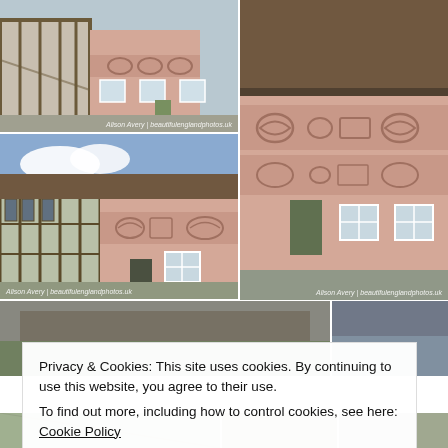[Figure (photo): Historic timber-framed and pink-rendered building on a street corner, showing decorative pargeting on the pink rendered section. Watermark reads: Alison Avery | beautifulenglandphotos.uk]
[Figure (photo): Close-up of a pink-rendered cottage facade with ornate decorative pargeting patterns, white sash windows and a dark door. Watermark reads: Alison Avery | beautifulenglandphotos.uk]
[Figure (photo): Side view of the same historic building showing timber framing and pink pargeted section with decorative patterns and white windows. Watermark reads: Alison Avery | beautifulenglandphotos.uk]
[Figure (photo): Partial view of another historic building, partially obscured by cookie consent banner]
[Figure (screenshot): Partial photo strip at bottom of page showing additional historic building images]
Privacy & Cookies: This site uses cookies. By continuing to use this website, you agree to their use.
To find out more, including how to control cookies, see here: Cookie Policy
Close and accept